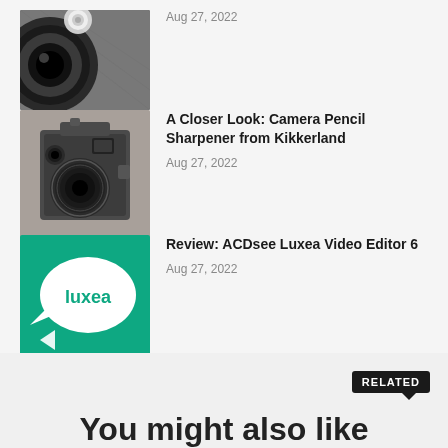[Figure (photo): Partial view of a camera lens on dark fabric background]
Aug 27, 2022
[Figure (photo): Vintage box camera (pencil sharpener) on grey surface]
A Closer Look: Camera Pencil Sharpener from Kikkerland
Aug 27, 2022
[Figure (logo): ACDsee Luxea logo — white speech bubble with 'luxea' text on teal/green background]
Review: ACDsee Luxea Video Editor 6
Aug 27, 2022
You might also like